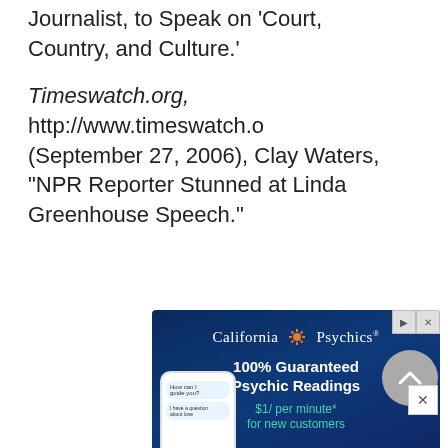Journalist, to Speak on 'Court, Country, and Culture.'
Timeswatch.org, http://www.timeswatch.o (September 27, 2006), Clay Waters, "NPR Reporter Stunned at Linda Greenhouse Speech."
[Figure (other): California Psychics advertisement. Dark blue background with brand name, sun/star logo, text '100% Guaranteed Psychic Readings', '$1/ per minute* for new customers', phone graphic, and 'Sign up now' button.]